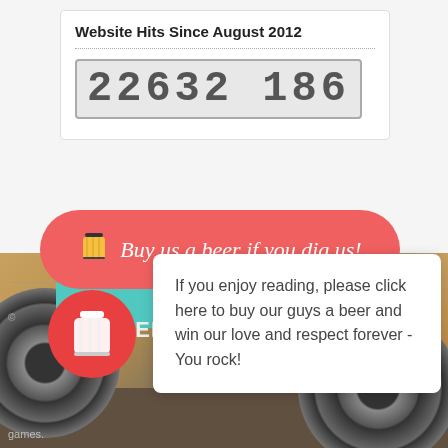Website Hits Since August 2012
22632 186
[Figure (infographic): Red rounded button with coffee/beer cup icon and text 'Buy us a beer if you dig us!']
[Figure (photo): Vinyl records collage background with teal strip and JOOPER text, with a circular red beer cup icon overlay]
If you enjoy reading, please click here to buy our guys a beer and win our love and respect forever - You rock!
games.